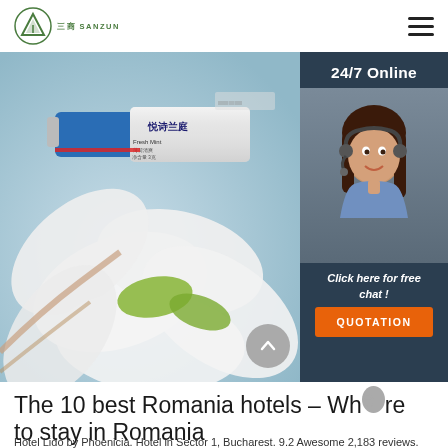[Figure (logo): Sanzun company logo — green triangle/mountain icon with Chinese text below]
[Figure (screenshot): Website screenshot showing a product (Chinese toothpaste tube 悦诗兰庭 Fresh Mint) on white flower petals with light blue background. Sidebar shows 24/7 Online chat widget with female agent photo, 'Click here for free chat!' text and orange QUOTATION button.]
The 10 best Romania hotels – Where to stay in Romania
Hotel Lido by Phoenicia. Hotel in Sector 1, Bucharest. 9.2 Awesome 2,183 reviews. Located in the center of Bucharest, Hotel Lido by Phoenicia is a historical hotel dating from 1938.